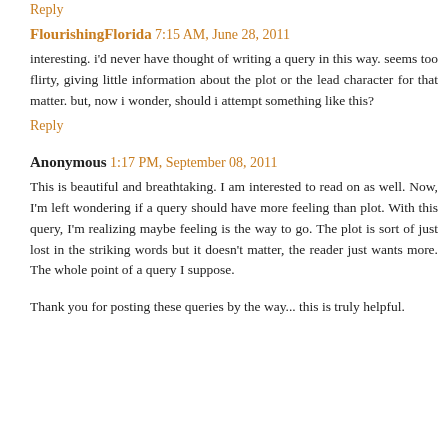Reply
FlourishingFlorida 7:15 AM, June 28, 2011
interesting. i'd never have thought of writing a query in this way. seems too flirty, giving little information about the plot or the lead character for that matter. but, now i wonder, should i attempt something like this?
Reply
Anonymous 1:17 PM, September 08, 2011
This is beautiful and breathtaking. I am interested to read on as well. Now, I'm left wondering if a query should have more feeling than plot. With this query, I'm realizing maybe feeling is the way to go. The plot is sort of just lost in the striking words but it doesn't matter, the reader just wants more. The whole point of a query I suppose.
Thank you for posting these queries by the way... this is truly helpful.